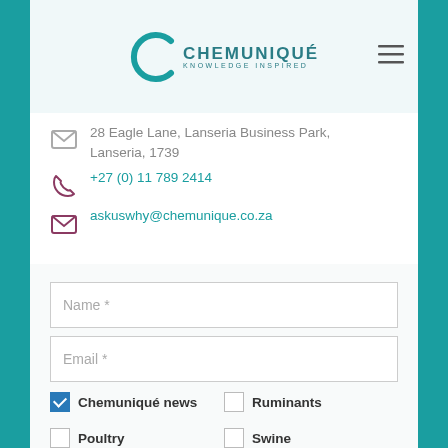[Figure (logo): Chemuniqué Knowledge Inspired logo with teal C arc and company name]
28 Eagle Lane, Lanseria Business Park, Lanseria, 1739
+27 (0) 11 789 2414
askuswhy@chemunique.co.za
Name *
Email *
Chemuniqué news
Ruminants
Poultry
Swine
Companion animals
Amino acids